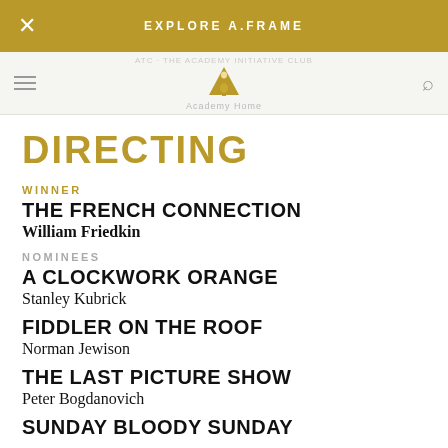EXPLORE A.FRAME
DIRECTING
WINNER
THE FRENCH CONNECTION
William Friedkin
NOMINEES
A CLOCKWORK ORANGE
Stanley Kubrick
FIDDLER ON THE ROOF
Norman Jewison
THE LAST PICTURE SHOW
Peter Bogdanovich
SUNDAY BLOODY SUNDAY